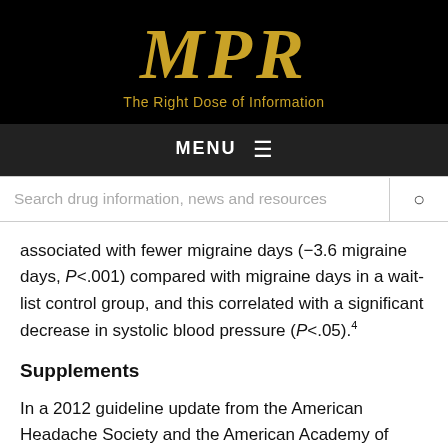MPR — The Right Dose of Information
MENU
Search drug information, news and resources
associated with fewer migraine days (−3.6 migraine days, P<.001) compared with migraine days in a wait-list control group, and this correlated with a significant decrease in systolic blood pressure (P<.05).4
Supplements
In a 2012 guideline update from the American Headache Society and the American Academy of Neurology, it was determined that the efficacy of butterbur for migraine prevention is supported by Level A evidence. "It...